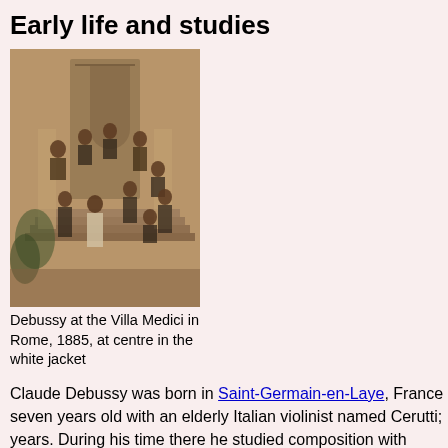Early life and studies
[Figure (photo): Sepia photograph of a group of men posed on steps of a building, Debussy at the Villa Medici in Rome, 1885, at centre in the white jacket]
Debussy at the Villa Medici in Rome, 1885, at centre in the white jacket
Claude Debussy was born in Saint-Germain-en-Laye, France seven years old with an elderly Italian violinist named Cerutti; years. During his time there he studied composition with Ernes advice on playing his music.
From the start, though clearly talented, Debussy was also argu movements by Beethoven, Schumann and Weber; and Chop